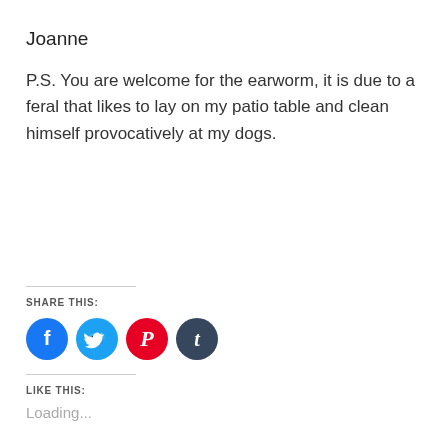Joanne
P.S. You are welcome for the earworm, it is due to a feral that likes to lay on my patio table and clean himself provocatively at my dogs.
SHARE THIS:
[Figure (infographic): Four social sharing icon circles: Facebook (blue), Twitter (light blue), Pinterest (red), Tumblr (dark blue-grey)]
LIKE THIS:
Loading...